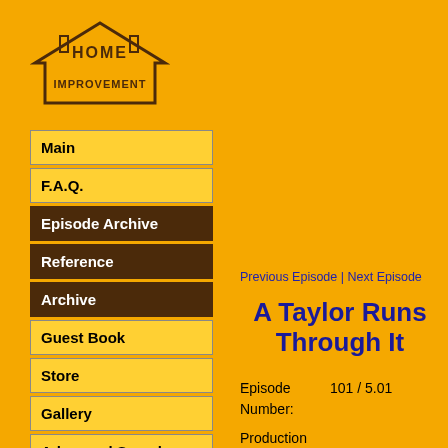[Figure (logo): Home Improvement TV show logo — a house outline with the words HOME IMPROVEMENT in styled block letters]
Main
F.A.Q.
Episode Archive
Reference
Archive
Guest Book
Store
Gallery
Advanced Search
Previous Episode | Next Episode
A Taylor Runs Through It
Episode Number:  101 / 5.01
Production Number:
Show  A528